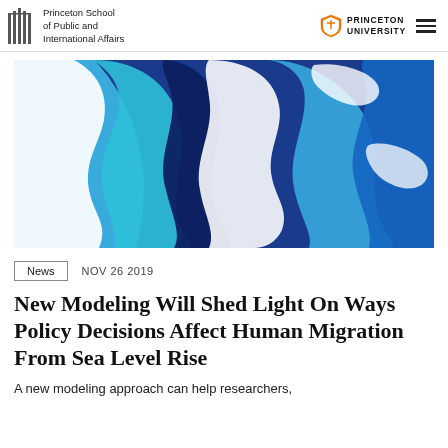Princeton School of Public and International Affairs | PRINCETON UNIVERSITY
[Figure (illustration): Abstract paper-cut art illustration with overlapping blue and white curved shapes, showing silhouettes of human profiles (faces) in white against layered blue and teal curved forms suggesting waves or terrain, evoking migration and sea level themes.]
News   NOV 26 2019
New Modeling Will Shed Light On Ways Policy Decisions Affect Human Migration From Sea Level Rise
A new modeling approach can help researchers,